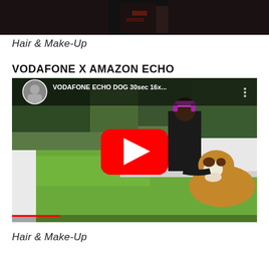[Figure (photo): Dark screenshot of a person in a dark outfit against a dark background, top strip of the page]
Hair & Make-Up
VODAFONE X AMAZON ECHO
[Figure (screenshot): YouTube video thumbnail showing a woman with purple headphones bending over a large Saint Bernard dog in a garden setting. Video title reads: VODAFONE ECHO DOG 30sec 16x... with a red YouTube play button overlay.]
Hair & Make-Up